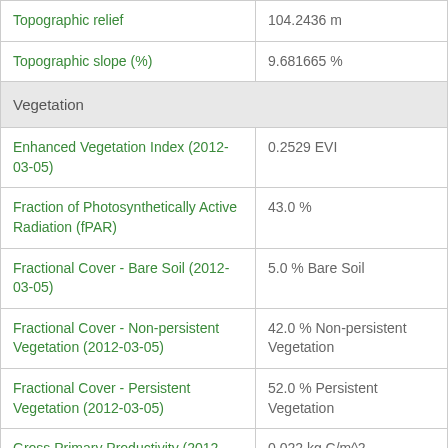| Parameter | Value |
| --- | --- |
| Topographic relief | 104.2436 m |
| Topographic slope (%) | 9.681665 % |
| Vegetation |  |
| Enhanced Vegetation Index (2012-03-05) | 0.2529 EVI |
| Fraction of Photosynthetically Active Radiation (fPAR) | 43.0 % |
| Fractional Cover - Bare Soil (2012-03-05) | 5.0 % Bare Soil |
| Fractional Cover - Non-persistent Vegetation (2012-03-05) | 42.0 % Non-persistent Vegetation |
| Fractional Cover - Persistent Vegetation (2012-03-05) | 52.0 % Persistent Vegetation |
| Gross Primary Productivity (2012-03-13) | 0.022 kg C/m^2 |
| Leaf Area Index (LAI) - 2012-03-05 | 1.0 m^2 plant / m^2 ground |